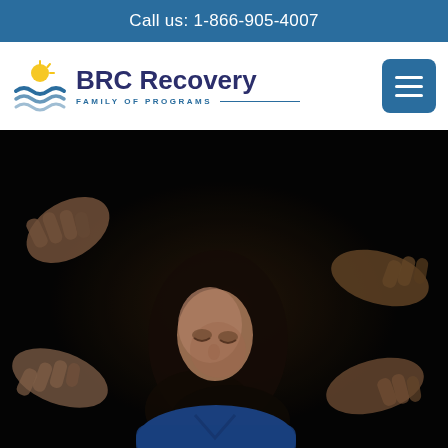Call us: 1-866-905-4007
[Figure (logo): BRC Recovery Family of Programs logo with sun and wave icon]
[Figure (photo): A woman with dark hair, wearing a blue top, looking downward, surrounded by hands in a dark setting — representing support in addiction recovery]